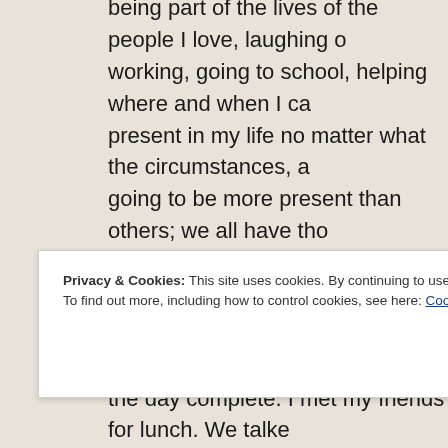being part of the lives of the people I love, laughing o... working, going to school, helping where and when I ca... present in my life no matter what the circumstances, a... going to be more present than others; we all have tho... retreat and regroup. We might even need to cry somet... everyone has a bad day; you just don't want it turn into...
Today, I have been present.  I got up early because I d... extra time to get a few things done.  I went to school w... the day complete.  I met my friends for lunch.  We talke... enjoyed hanging out.  Right now I am supposed to be w...
Privacy & Cookies: This site uses cookies. By continuing to use this website, you agree to their use.
To find out more, including how to control cookies, see here: Cookie Policy
Close and accept